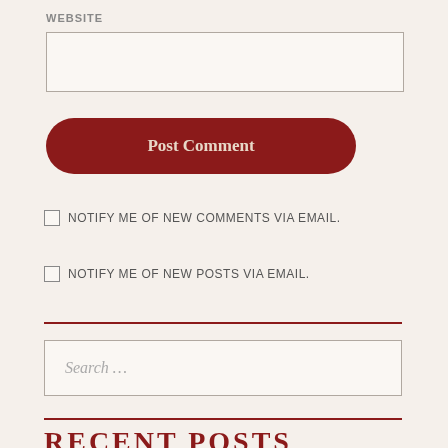WEBSITE
Post Comment
NOTIFY ME OF NEW COMMENTS VIA EMAIL.
NOTIFY ME OF NEW POSTS VIA EMAIL.
Search …
RECENT POSTS